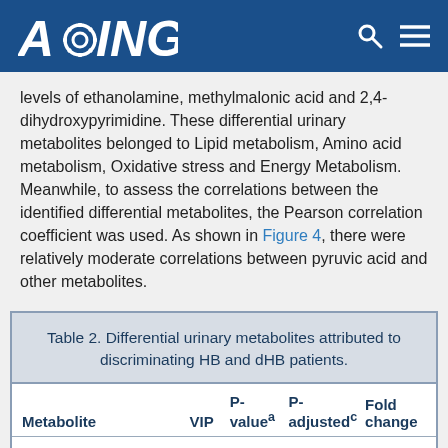AGING
levels of ethanolamine, methylmalonic acid and 2,4-dihydroxypyrimidine. These differential urinary metabolites belonged to Lipid metabolism, Amino acid metabolism, Oxidative stress and Energy Metabolism. Meanwhile, to assess the correlations between the identified differential metabolites, the Pearson correlation coefficient was used. As shown in Figure 4, there were relatively moderate correlations between pyruvic acid and other metabolites.
Table 2. Differential urinary metabolites attributed to discriminating HB and dHB patients.
| Metabolite | VIP | P-valueá | P-adjustedᶜ | Fold change |
| --- | --- | --- | --- | --- |
| ethanolamine | 2.67 | 0.24 | 0.45 | -0.34 |